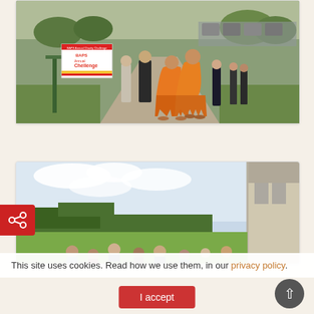[Figure (photo): Outdoor photo showing two monks in orange robes walking on a path, with other people and a BAPS Annual Charity Challenge banner in background, trees and parked cars visible, Milton Keynes UK]
BAPS Annual Charity Challenge, Milton Keynes, UK
[Figure (photo): Outdoor photo showing a group of people gathered outside a building with a brick wall on right side, trees and green landscape in background, cloudy sky]
This site uses cookies. Read how we use them, in our privacy policy.
I accept